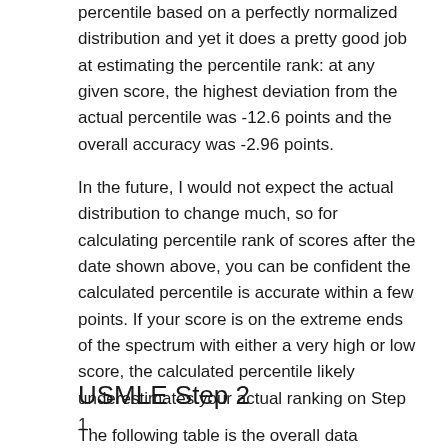percentile based on a perfectly normalized distribution and yet it does a pretty good job at estimating the percentile rank: at any given score, the highest deviation from the actual percentile was -12.6 points and the overall accuracy was -2.96 points.
In the future, I would not expect the actual distribution to change much, so for calculating percentile rank of scores after the date shown above, you can be confident the calculated percentile is accurate within a few points. If your score is on the extreme ends of the spectrum with either a very high or low score, the calculated percentile likely underestimates your actual ranking on Step 1.
USMLE Step 2
The following table is the overall data provided by the